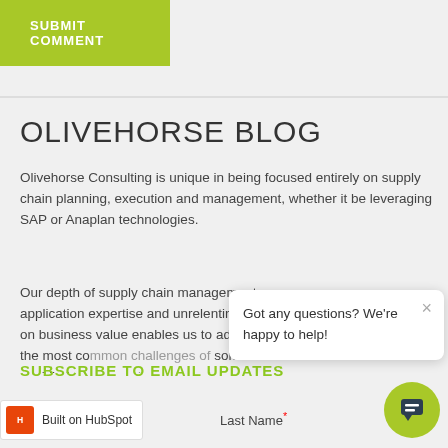SUBMIT COMMENT
OLIVEHORSE BLOG
Olivehorse Consulting is unique in being focused entirely on supply chain planning, execution and management, whether it be leveraging SAP or Anaplan technologies.
Our depth of supply chain management application expertise and unrelenting focus on business value enables us to address the most co... some of the world's faste...
SUBSCRIBE TO EMAIL UPDATES
Got any questions? We're happy to help!
Built on HubSpot
Last Name*